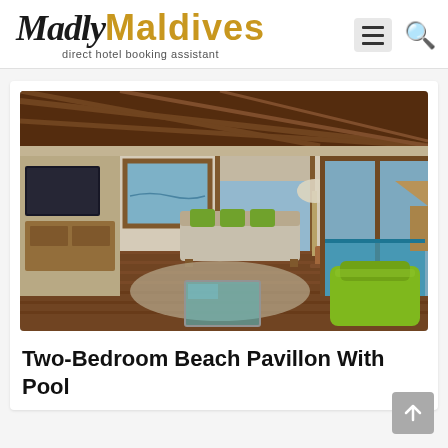[Figure (logo): MadlyMaldives logo — 'Madly' in black italic serif, 'Maldives' in gold bold sans-serif, tagline 'direct hotel booking assistant' below]
[Figure (photo): Interior of a luxury Maldives overwater villa — wooden ceiling beams, sofa with green cushions by ocean view windows, glass floor panel revealing water below, lime-green lounge chair, open sliding doors to infinity pool and ocean]
Two-Bedroom Beach Pavillon With Pool